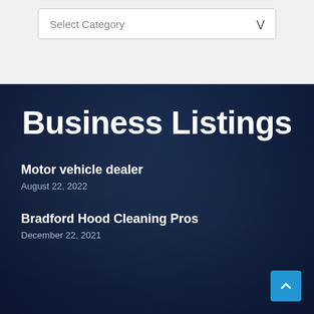[Figure (screenshot): A select dropdown UI element with placeholder text 'Select Category' and a chevron arrow, on a light gray background]
Business Listings
Motor vehicle dealer
August 22, 2022
Bradford Hood Cleaning Pros
December 22, 2021